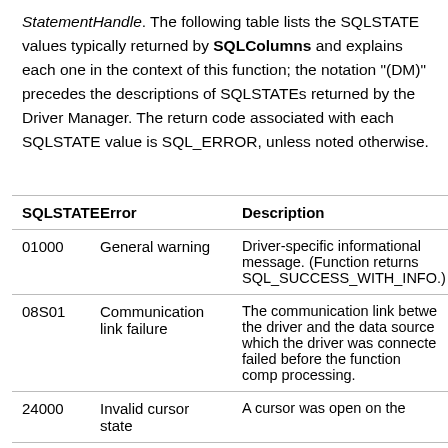StatementHandle. The following table lists the SQLSTATE values typically returned by SQLColumns and explains each one in the context of this function; the notation "(DM)" precedes the descriptions of SQLSTATEs returned by the Driver Manager. The return code associated with each SQLSTATE value is SQL_ERROR, unless noted otherwise.
| SQLSTATE | Error | Description |
| --- | --- | --- |
| 01000 | General warning | Driver-specific informational message. (Function returns SQL_SUCCESS_WITH_INFO.) |
| 08S01 | Communication link failure | The communication link between the driver and the data source to which the driver was connected failed before the function completed processing. |
| 24000 | Invalid cursor state | A cursor was open on the StatementHandle and SQL_A... |